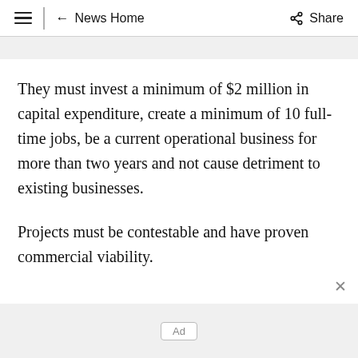≡  ← News Home  Share
They must invest a minimum of $2 million in capital expenditure, create a minimum of 10 full-time jobs, be a current operational business for more than two years and not cause detriment to existing businesses.
Projects must be contestable and have proven commercial viability.